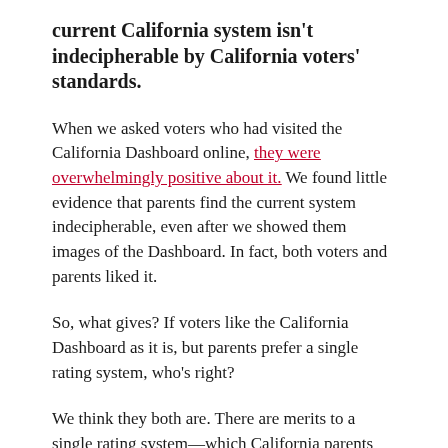current California system isn't indecipherable by California voters' standards.
When we asked voters who had visited the California Dashboard online, they were overwhelmingly positive about it. We found little evidence that parents find the current system indecipherable, even after we showed them images of the Dashboard. In fact, both voters and parents liked it.
So, what gives? If voters like the California Dashboard as it is, but parents prefer a single rating system, who's right?
We think they both are. There are merits to a single rating system—which California parents (who vote) understand, and DeVos pushes—but